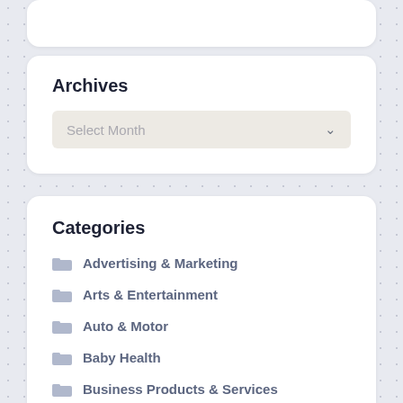Archives
[Figure (screenshot): A dropdown select box labeled 'Select Month' with a chevron arrow on the right]
Categories
Advertising & Marketing
Arts & Entertainment
Auto & Motor
Baby Health
Business Products & Services